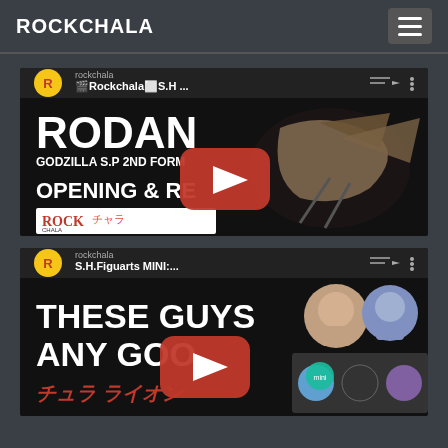ROCKCHALA
[Figure (screenshot): YouTube video thumbnail for Rockchala S.H. Figuarts review of Rodan Godzilla S.P 2nd Form, showing the RODAN figure with Opening & Review text and RockChara logo]
[Figure (screenshot): YouTube video thumbnail for S.H.Figuarts MINI review titled 'These Guys Any Goo...' showing chibi anime figures with RockChara logo]